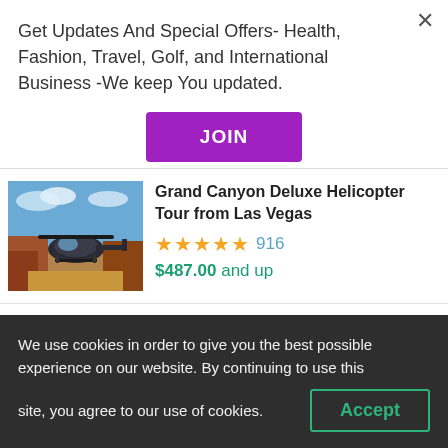Get Updates And Special Offers- Health, Fashion, Travel, Golf, and International Business -We keep You updated.
[Figure (other): Purple JOIN button for newsletter signup]
[Figure (photo): Helicopter in Grand Canyon landscape]
Grand Canyon Deluxe Helicopter Tour from Las Vegas
★★★★★ 916
$487.00 and up
LAS VEGAS, NEVADA
[Figure (photo): Grand Canyon West Rim aerial view]
Grand Canyon West Rim Bus Tour & Hoover Dam Photo Stop with Optional Champagne
We use cookies in order to give you the best possible experience on our website. By continuing to use this site, you agree to our use of cookies.
Accept